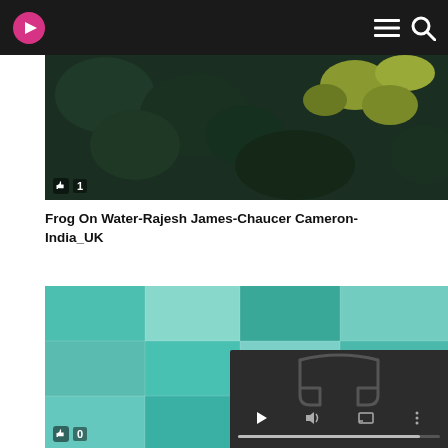Video streaming website header with logo, menu, and search icons
[Figure (screenshot): Aerial view thumbnail showing trees and foliage from above, dark tones with yellow-green patches, with a thumbs-up like badge showing '1']
Frog On Water-Rajesh James-Chaucer Cameron-India_UK
[Figure (screenshot): Teal/turquoise mosaic grid thumbnail with underwater/water texture imagery, with a thumbs-up like badge showing '0', and a video player overlay with play, volume, and more-options controls]
0